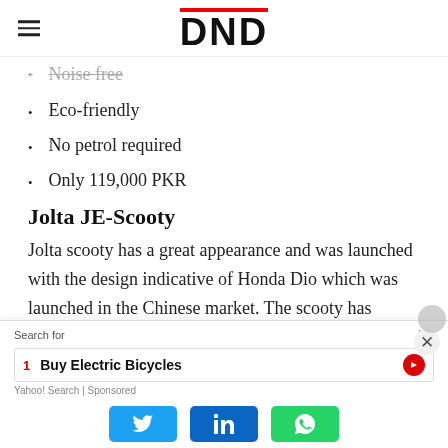DND
Noise free
Eco-friendly
No petrol required
Only 119,000 PKR
Jolta JE-Scooty
Jolta scooty has a great appearance and was launched with the design indicative of Honda Dio which was launched in the Chinese market. The scooty has comfortable seating as well but has a slightly higher price.
Search for
1 Buy Electric Bicycles
Yahoo! Search | Sponsored